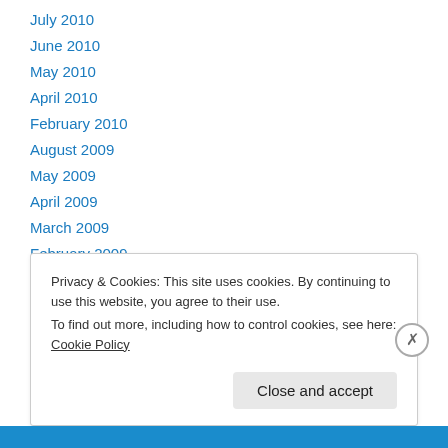July 2010
June 2010
May 2010
April 2010
February 2010
August 2009
May 2009
April 2009
March 2009
February 2009
January 2009
Privacy & Cookies: This site uses cookies. By continuing to use this website, you agree to their use. To find out more, including how to control cookies, see here: Cookie Policy
Close and accept